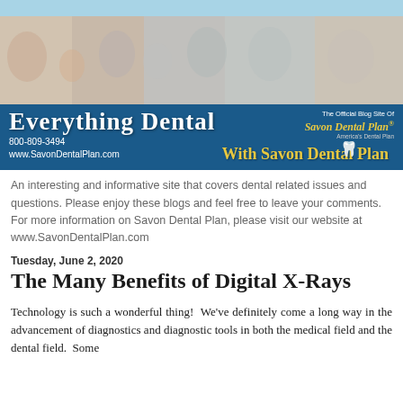[Figure (photo): Top light blue decorative bar]
[Figure (photo): Banner photo of smiling people/families brushing teeth]
[Figure (illustration): Everything Dental With Savon Dental Plan blue header banner with logo, phone 800-809-3494, www.SavonDentalPlan.com]
An interesting and informative site that covers dental related issues and questions. Please enjoy these blogs and feel free to leave your comments. For more information on Savon Dental Plan, please visit our website at www.SavonDentalPlan.com
Tuesday, June 2, 2020
The Many Benefits of Digital X-Rays
Technology is such a wonderful thing!  We've definitely come a long way in the advancement of diagnostics and diagnostic tools in both the medical field and the dental field.  Some